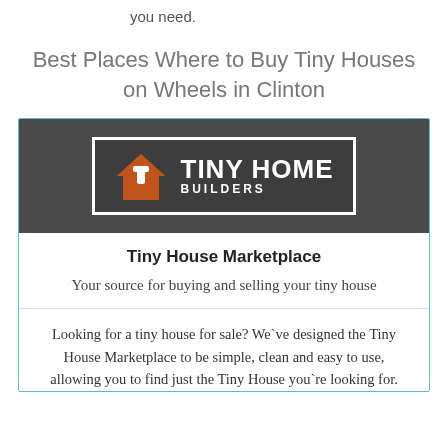you need.
Best Places Where to Buy Tiny Houses on Wheels in Clinton
[Figure (logo): Tiny Home Builders logo: orange house icon with hammer, white text TINY HOME BUILDERS on dark background]
Tiny House Marketplace
Your source for buying and selling your tiny house
Looking for a tiny house for sale? We've designed the Tiny House Marketplace to be simple, clean and easy to use, allowing you to find just the Tiny House you're looking for.